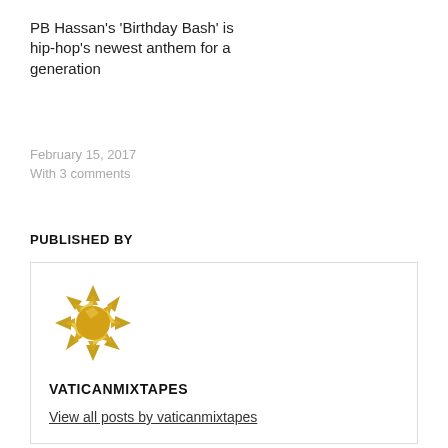PB Hassan’s ‘Birthday Bash’ is hip-hop’s newest anthem for a generation
February 15, 2017
With 3 comments
Posted in Music / Singles
PUBLISHED BY
[Figure (logo): Golden/yellow spiky sun-like geometric logo for vaticanmixtapes]
VATICANMIXTAPES
View all posts by vaticanmixtapes